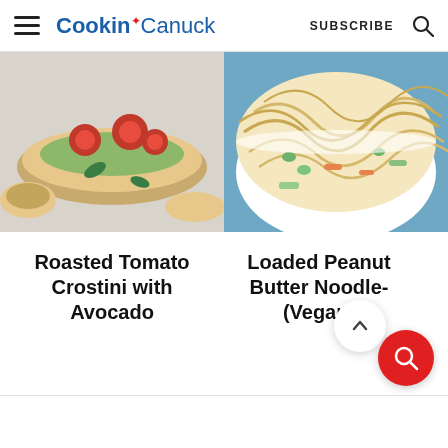Cookin' Canuck — SUBSCRIBE
[Figure (photo): Roasted tomato crostini with avocado spread on bread, with cherry tomatoes and basil leaves on a light background]
[Figure (photo): Bowl of loaded peanut butter noodles with vegetables including edamame, carrots, and zucchini]
Roasted Tomato Crostini with Avocado
Loaded Peanut Butter Noodles (Vegan)